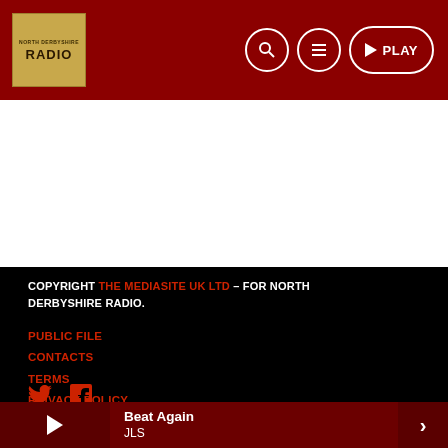[Figure (logo): North Derbyshire Radio logo in gold box on dark red header with search, menu, and play buttons]
COPYRIGHT THE MEDIASITE UK LTD – FOR NORTH DERBYSHIRE RADIO.
PUBLIC FILE
CONTACTS
TERMS
PRIVACY POLICY
[Figure (illustration): Twitter and Facebook social media icons in red]
Beat Again JLS